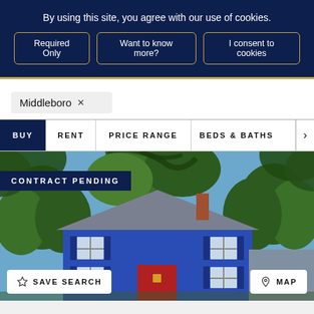By using this site, you agree with our use of cookies.
Required Only
Want to know more?
I consent to cookies
Middleboro ×
BUY
RENT
PRICE RANGE
BEDS & BATHS
[Figure (photo): Colonial-style blue house with gray roof, red front door, and shutters, surrounded by green trees under blue sky with CONTRACT PENDING overlay badge.]
SAVE SEARCH
MAP